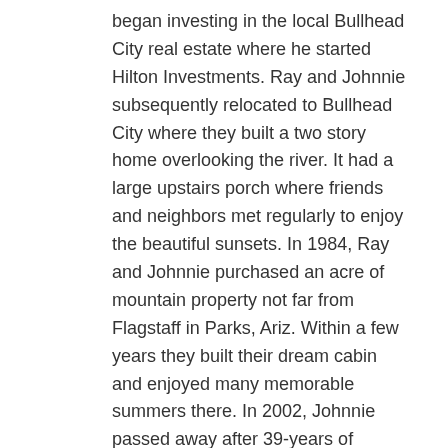began investing in the local Bullhead City real estate where he started Hilton Investments. Ray and Johnnie subsequently relocated to Bullhead City where they built a two story home overlooking the river. It had a large upstairs porch where friends and neighbors met regularly to enjoy the beautiful sunsets. In 1984, Ray and Johnnie purchased an acre of mountain property not far from Flagstaff in Parks, Ariz. Within a few years they built their dream cabin and enjoyed many memorable summers there. In 2002, Johnnie passed away after 39-years of marriage.
A lifelong Harley Davidson enthusiast, Ray made many cross-country trips, including to Alaska, Daytona Beach, Sturgis, Oshkosh and Milwaukee for Harley's 100th anniversary. Ray had a real love for animals. His favorite dogs were Bonnie Sue, a Chihuahua/Jack Russell mix and Gracie, a Jack Russell terrier. He was also a supporter of the local animal charity, BHC